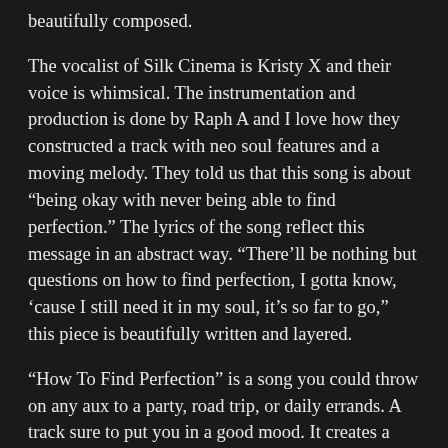beautifully composed.
The vocalist of Silk Cinema is Kristy X and their voice is whimsical. The instrumentation and production is done by Raph A and I love how they constructed a track with neo soul features and a moving melody. They told us that this song is about “being okay with never being able to find perfection.” The lyrics of the song reflect this message in an abstract way. “There’ll be nothing but questions on how to find perfection, I gotta know, ‘cause I still need it in my soul, it’s so far to go,” this piece is beautifully written and layered.
“How To Find Perfection” is a song you could throw on any aux to a party, road trip, or daily errands. A track sure to put you in a good mood. It creates a sense of satisfaction and calmness. Silk Cinema creates amazing neo soul hits, you should check out their project “Spells” if you want to get